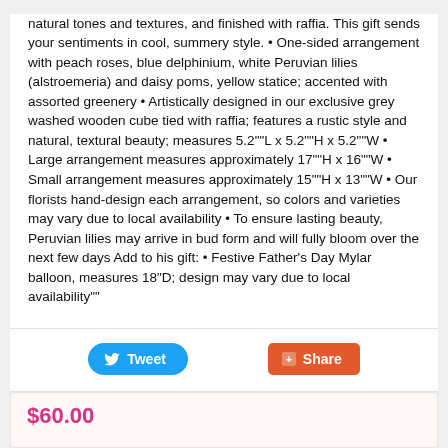natural tones and textures, and finished with raffia. This gift sends your sentiments in cool, summery style. • One-sided arrangement with peach roses, blue delphinium, white Peruvian lilies (alstroemeria) and daisy poms, yellow statice; accented with assorted greenery • Artistically designed in our exclusive grey washed wooden cube tied with raffia; features a rustic style and natural, textural beauty; measures 5.2""L x 5.2""H x 5.2""W • Large arrangement measures approximately 17""H x 16""W • Small arrangement measures approximately 15""H x 13""W • Our florists hand-design each arrangement, so colors and varieties may vary due to local availability • To ensure lasting beauty, Peruvian lilies may arrive in bud form and will fully bloom over the next few days Add to his gift: • Festive Father's Day Mylar balloon, measures 18"D; design may vary due to local availability""
[Figure (other): Tweet button (blue rounded) and Share button (orange rounded rectangle) social sharing buttons]
$60.00